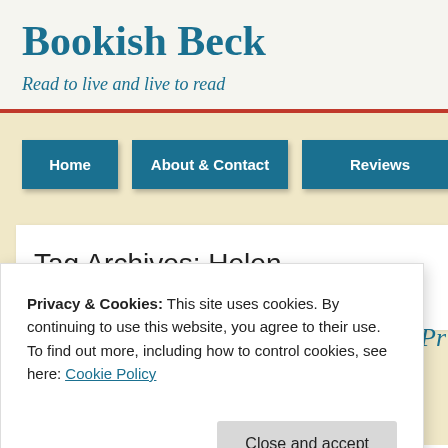Bookish Beck
Read to live and live to read
Home | About & Contact | Reviews | Love Your Li…
Tag Archives: Helen Macdonald
Privacy & Cookies: This site uses cookies. By continuing to use this website, you agree to their use.
To find out more, including how to control cookies, see here: Cookie Policy
Close and accept